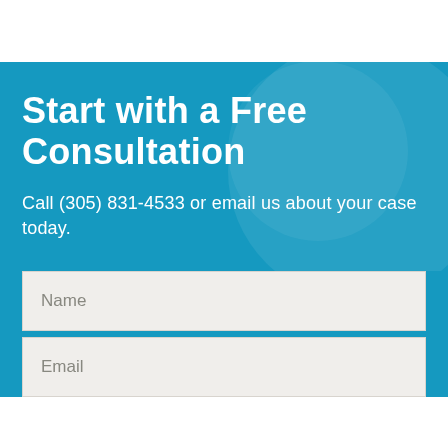Start with a Free Consultation
Call (305) 831-4533 or email us about your case today.
Name
Email